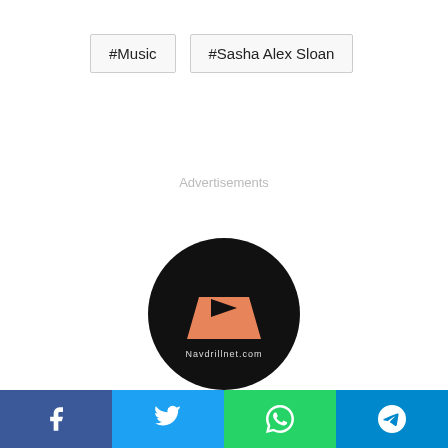#Music
#Sasha Alex Sloan
Advertisements
[Figure (logo): Navdrill logo: circular black background with orange trapezoid play button shape and text 'Navdrillnet.com']
Navdrill
[Figure (other): Home icon (house symbol)]
Facebook | Twitter | WhatsApp | Telegram social share bar